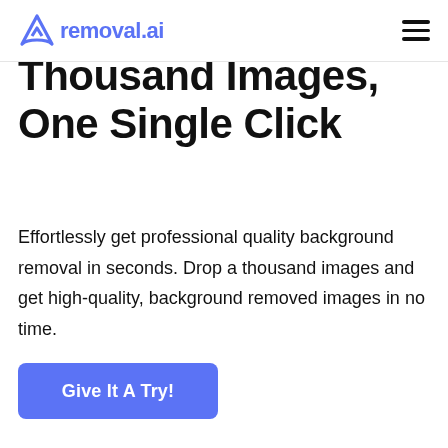removal.ai
Thousand Images, One Single Click
Effortlessly get professional quality background removal in seconds. Drop a thousand images and get high-quality, background removed images in no time.
Give It A Try!